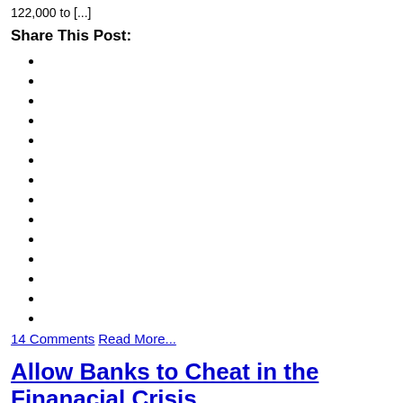122,000 to [...]
Share This Post:
14 Comments
Read More...
Allow Banks to Cheat in the Finanacial Crisis